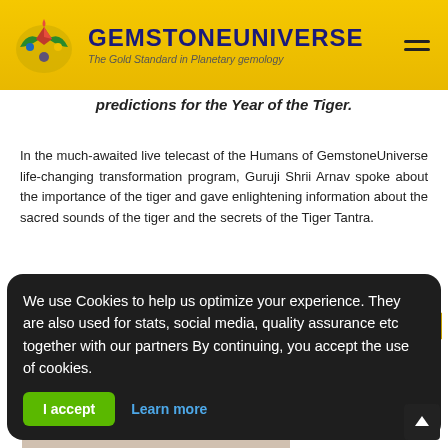GEMSTONEUNIVERSE - The Gold Standard in Planetary gemology
predictions for the Year of the Tiger.
In the much-awaited live telecast of the Humans of GemstoneUniverse life-changing transformation program, Guruji Shrii Arnav spoke about the importance of the tiger and gave enlightening information about the sacred sounds of the tiger and the secrets of the Tiger Tantra.
We use Cookies to help us optimize your experience. They are also used for stats, social media, quality assurance etc together with our partners By continuing, you accept the use of cookies.
[Figure (photo): GemstoneUniverse store front with GEMSTONE signage and New Year decorations]
[Figure (logo): WhatsApp contact button (green)]
[Figure (logo): Lifetime Exchange 100% Guarantee badge]